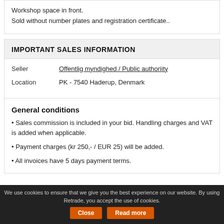Workshop space in front.
Sold without number plates and registration certificate..
IMPORTANT SALES INFORMATION
Seller   Offentlig myndighed / Public authoriity
Location   PK - 7540 Haderup, Denmark
General conditions
Sales commission is included in your bid. Handling charges and VAT is added when applicable.
Payment charges (kr 250,- / EUR 25) will be added.
All invoices have 5 days payment terms.
We use cookies to ensure that we give you the best experience on our website. By using Retrade, you accept the use of cookies.   Close   Read more